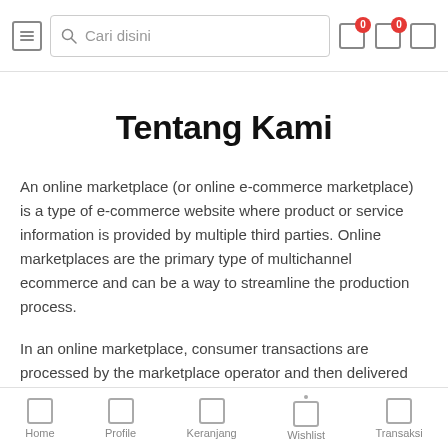Cari disini
Tentang Kami
An online marketplace (or online e-commerce marketplace) is a type of e-commerce website where product or service information is provided by multiple third parties. Online marketplaces are the primary type of multichannel ecommerce and can be a way to streamline the production process.
In an online marketplace, consumer transactions are processed by the marketplace operator and then delivered and fulfilled by the participating retailers or wholesalers. These type of websites allow users to register and sell single items to many items for a fixed selling fee.
Home  Profile  Keranjang  Wishlist  Transaksi